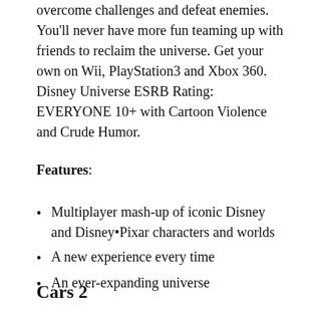overcome challenges and defeat enemies. You'll never have more fun teaming up with friends to reclaim the universe. Get your own on Wii, PlayStation3 and Xbox 360. Disney Universe ESRB Rating: EVERYONE 10+ with Cartoon Violence and Crude Humor.
Features:
Multiplayer mash-up of iconic Disney and Disney•Pixar characters and worlds
A new experience every time
An ever-expanding universe
Cars 2